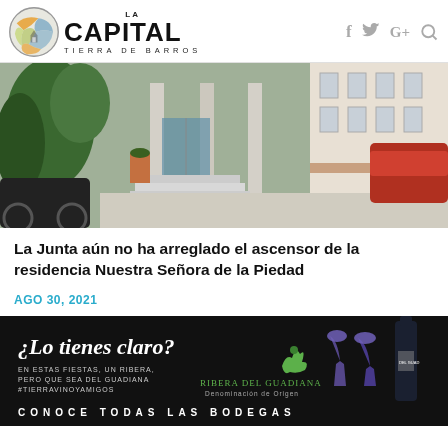[Figure (logo): La Capital Tierra de Barros logo with circular globe illustration and social media icons (f, Twitter bird, G+, search)]
[Figure (photo): Street-level photo of an entrance to a building with columns, steps, potted plants, and a parked car on the right side of a sidewalk]
La Junta aún no ha arreglado el ascensor de la residencia Nuestra Señora de la Piedad
AGO 30, 2021
[Figure (illustration): Advertisement for Ribera del Guadiana Denominación de Origen with text '¿Lo tienes claro? EN ESTAS FIESTAS, UN RIBERA, PERO QUE SEA DEL GUADIANA #TIERRAVINOYAMIGOS' and images of wine glasses and bottles, with text 'CONOCE TODAS LAS BODEGAS' at the bottom]